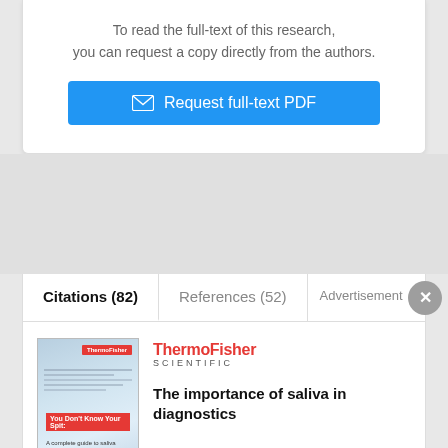To read the full-text of this research, you can request a copy directly from the authors.
[Figure (other): Blue button labeled 'Request full-text PDF' with envelope icon]
Citations (82)
References (52)
Advertisement
[Figure (screenshot): ThermoFisher Scientific advertisement showing a booklet thumbnail]
The importance of saliva in diagnostics